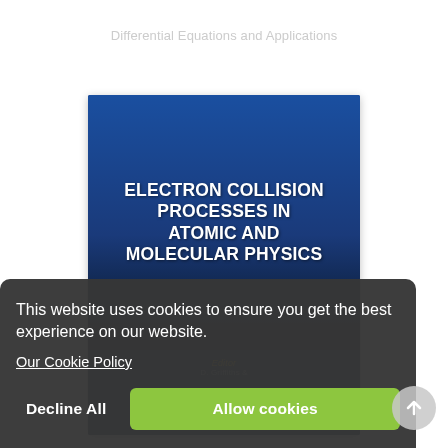Differential Equations and Applications
[Figure (photo): Book cover of 'Electron Collision Processes in Atomic and Molecular Physics' with a dark blue gradient background. The title is in large white bold uppercase text. Below the title is an 'Editor' label in gold italic text, followed by partially visible editor name text.]
This website uses cookies to ensure you get the best experience on our website.
Our Cookie Policy
Decline All
Allow cookies